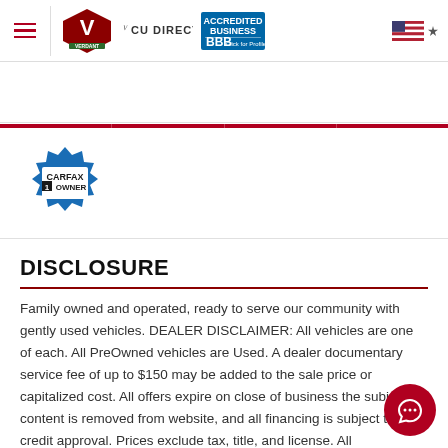Verdant / CU Direct / BBB Accredited Business header navigation
[Figure (screenshot): Red navigation bar with heart, location pin, phone, and search icons on white circles, separated by vertical dividers]
[Figure (logo): Carfax 1 Owner badge logo]
DISCLOSURE
Family owned and operated, ready to serve our community with gently used vehicles. DEALER DISCLAIMER: All vehicles are one of each. All PreOwned vehicles are Used. A dealer documentary service fee of up to $150 may be added to the sale price or capitalized cost. All offers expire on close of business the subject content is removed from website, and all financing is subject to credit approval. Prices exclude tax, title, and license. All